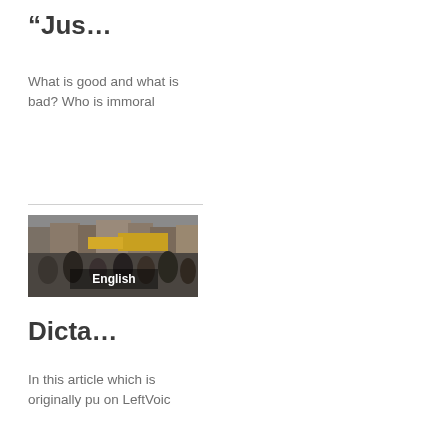“Jus…
What is good and what is bad? Who is immoral
[Figure (photo): Street crowd photo with 'English' label overlay]
Dicta…
In this article which is originally pu on LeftVoic